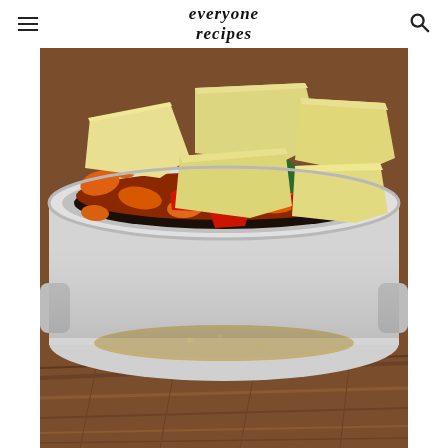everyone recipes
[Figure (photo): Close-up of a white slow cooker / crock pot sitting on a wooden table, filled with chunked potatoes, sliced carrots, red bell peppers, and green bell peppers.]